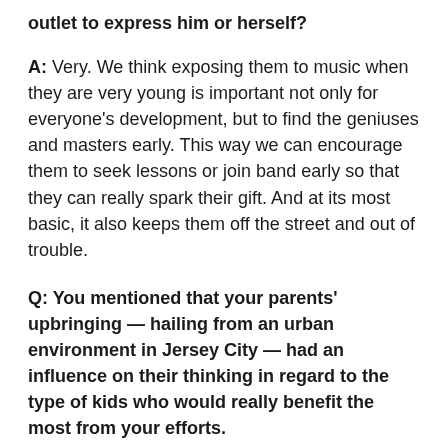outlet to express him or herself?
A: Very. We think exposing them to music when they are very young is important not only for everyone's development, but to find the geniuses and masters early. This way we can encourage them to seek lessons or join band early so that they can really spark their gift. And at its most basic, it also keeps them off the street and out of trouble.
Q: You mentioned that your parents' upbringing — hailing from an urban environment in Jersey City — had an influence on their thinking in regard to the type of kids who would really benefit the most from your efforts.
A: Definitely. The inner city community is what they saw and knew coming up, you know? I mean, we want to help everybody — all areas and all races, because we are all